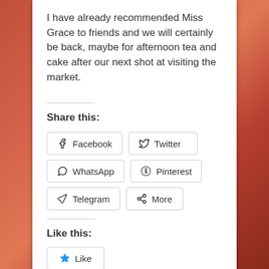I have already recommended Miss Grace to friends and we will certainly be back, maybe for afternoon tea and cake after our next shot at visiting the market.
Share this:
[Figure (infographic): Social sharing buttons: Facebook, Twitter, WhatsApp, Pinterest, Telegram, More]
Like this:
[Figure (infographic): Like button with star icon]
Be the first to like this.
Previous: